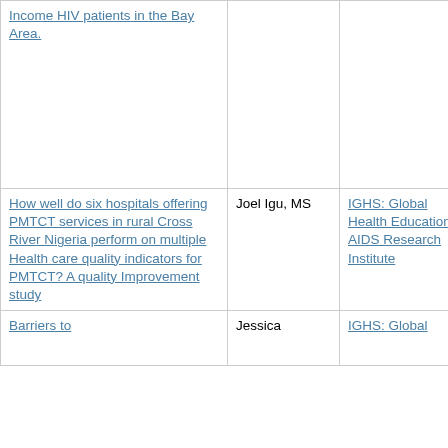| Income HIV patients in the Bay Area. |  |  |  |  |
| How well do six hospitals offering PMTCT services in rural Cross River Nigeria perform on multiple Health care quality indicators for PMTCT? A quality Improvement study | Joel Igu, MS | IGHS: Global Health Education, AIDS Research Institute | 9/1/14 | 7/1/15 |
| Barriers to | Jessica | IGHS: Global | 9/1/14 | 7/1/15 |